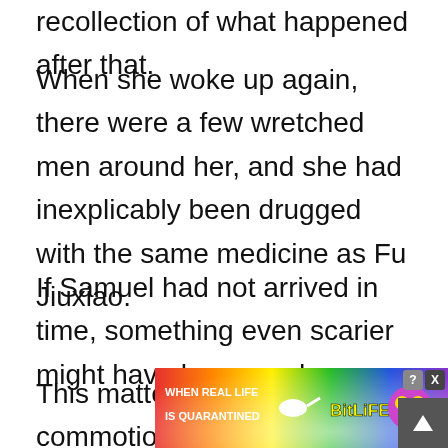recollection of what happened after that.
When she woke up again, there were a few wretched men around her, and she had inexplicably been drugged with the same medicine as Fu Jiuxiao.
If Samuel had not arrived in time, something even scarier might have happened.
This matter had caused a commotion in Country M, and in the end, it was Samuel who had s
[Figure (screenshot): Advertisement banner for BitLife app showing rainbow background, text 'WHEN REAL LIFE IS QUARANTINED', BitLife logo in yellow, emoji characters, close and X buttons]